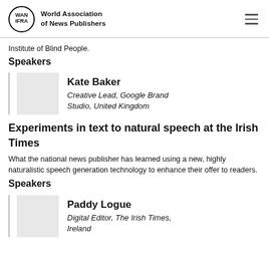World Association of News Publishers
Institute of Blind People.
Speakers
Kate Baker
Creative Lead, Google Brand Studio, United Kingdom
Experiments in text to natural speech at the Irish Times
What the national news publisher has learned using a new, highly naturalistic speech generation technology to enhance their offer to readers.
Speakers
Paddy Logue
Digital Editor, The Irish Times, Ireland